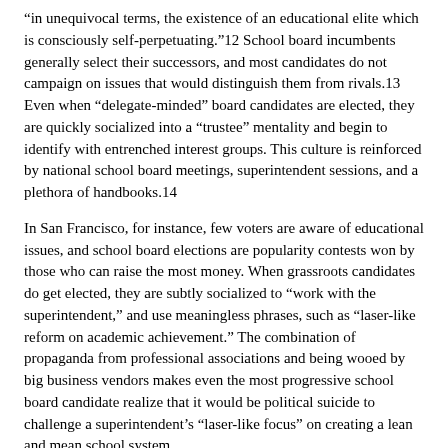“in unequivocal terms, the existence of an educational elite which is consciously self-perpetuating.”12 School board incumbents generally select their successors, and most candidates do not campaign on issues that would distinguish them from rivals.13 Even when “delegate-minded” board candidates are elected, they are quickly socialized into a “trustee” mentality and begin to identify with entrenched interest groups. This culture is reinforced by national school board meetings, superintendent sessions, and a plethora of handbooks.14
In San Francisco, for instance, few voters are aware of educational issues, and school board elections are popularity contests won by those who can raise the most money. When grassroots candidates do get elected, they are subtly socialized to “work with the superintendent,” and use meaningless phrases, such as “laser-like reform on academic achievement.” The combination of propaganda from professional associations and being wooed by big business vendors makes even the most progressive school board candidate realize that it would be political suicide to challenge a superintendent’s “laser-like focus” on creating a lean and mean school system.
School board members who suggest progressive pedagogy and curricula are accused of being “leftist ideologues” or “not about the kids,” by business leaders, the media, and fellow professionals. If these attempts fail to inhibit board members, big business can threaten to withdraw its subsidies and political will from desperately needed supplemental district funding (parcel taxes, for example). But most board members respond to the carrot enough to believe that whenever there is a crisis—and there is always one around the